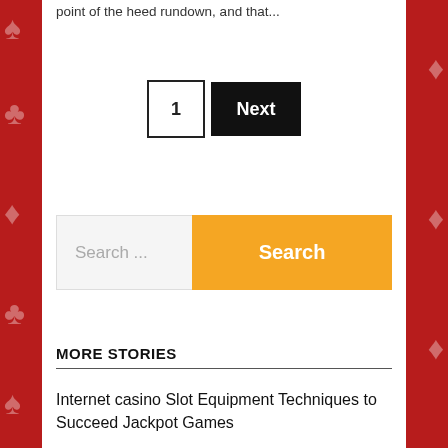point of the heed rundown, and that...
1   Next
Search ...   Search
MORE STORIES
Internet casino Slot Equipment Techniques to Succeed Jackpot Games